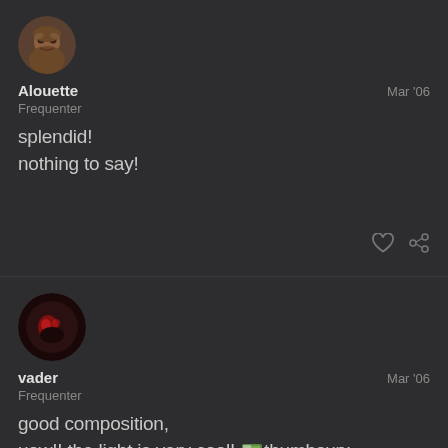[Figure (photo): Avatar of user Alouette, a fantasy/game character with an expressive face]
Alouette
Frequenter
Mar '06
splendid!
nothing to say!
[Figure (photo): Avatar of user vader, dark character with red lighting]
vader
Frequenter
Mar '06
good composition,
uow!! the light is very cool! :thumbsup:
46/221